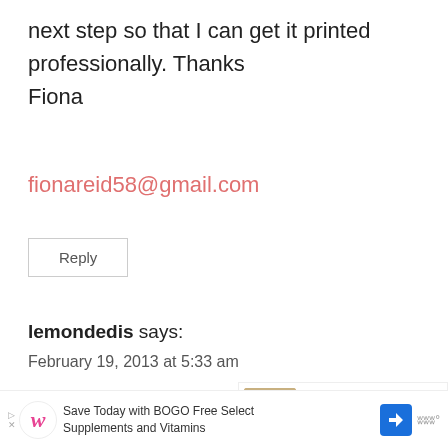next step so that I can get it printed professionally. Thanks
Fiona
fionareid58@gmail.com
Reply
lemondedis says:
February 19, 2013 at 5:33 am
j'aime beaucoup... j'ai déjà placé un l...
http://pinterest.com/lemondedis/from-the-bible/
[Figure (infographic): Heart like button with teal background, showing 1.6K count, and share icon below]
[Figure (infographic): What's Next promotional box: Thanksgiving Subway Art]
[Figure (infographic): Advertisement bar: Walgreens BOGO Free Select Supplements and Vitamins]